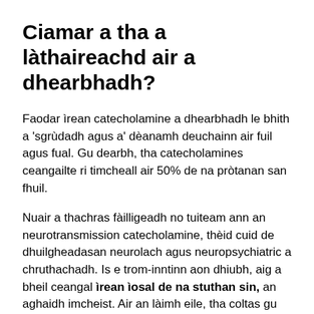Ciamar a tha a làthaireachd air a dhearbhadh?
Faodar ìrean catecholamine a dhearbhadh le bhith a 'sgrùdadh agus a' dèanamh deuchainn air fuil agus fual. Gu dearbh, tha catecholamines ceangailte ri timcheall air 50% de na pròtanan san fhuil.
Nuair a thachras fàilligeadh no tuiteam ann an neurotransmission catecholamine, thèid cuid de dhuilgheadasan neurolach agus neuropsychiatric a chruthachadh. Is e trom-inntinn aon dhiubh, aig a bheil ceangal ìrean ìosal de na stuthan sin, an aghaidh imcheist. Air an làimh eile, tha coltas gu bheil pàirt deatamach aig dopamine ann an galairean